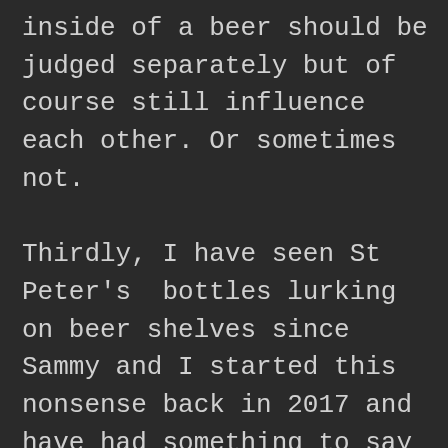inside of a beer should be judged separately but of course still influence each other. Or sometimes not.

Thirdly, I have seen St Peter's  bottles lurking on beer shelves since Sammy and I started this nonsense back in 2017 and have had something to say about them in my mind ever since. Let's see if I can I get my thoughts down accurately and eloquently after all these years...